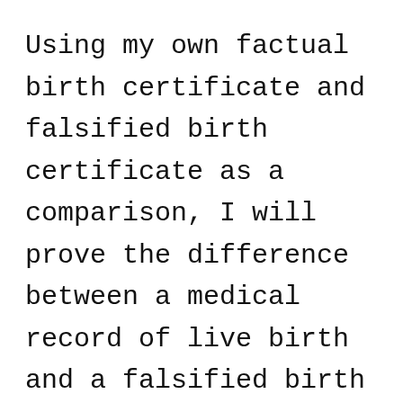Using my own factual birth certificate and falsified birth certificate as a comparison, I will prove the difference between a medical record of live birth and a falsified birth certificate issued after court-ordered adoption.
Parents' names on all